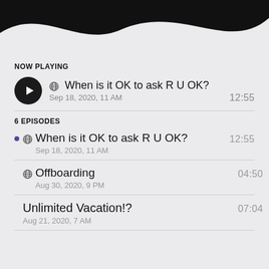[Figure (illustration): Black decorative wave shape at top of screen]
NOW PLAYING
When is it OK to ask R U OK? • Sep 18, 2020, 11 AM • 12:55
6 EPISODES
When is it OK to ask R U OK? • Sep 18, 2020, 11 AM • 12:55
Offboarding • Aug 30, 2020, 9 PM • 04:50
Unlimited Vacation!? • Aug 21, 2020, 7 AM • 07:04